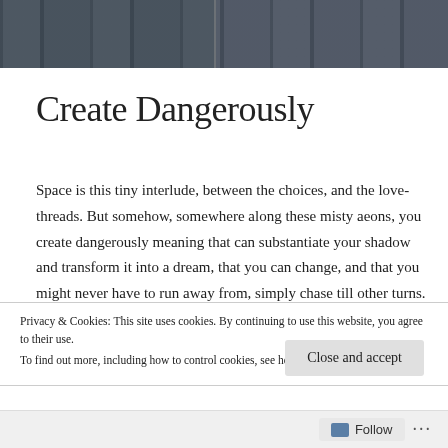[Figure (photo): Header photograph showing an outdoor scene with columns/pillars and people, split into two panels side by side]
Create Dangerously
Space is this tiny interlude, between the choices, and the love-threads. But somehow, somewhere along these misty aeons, you create dangerously meaning that can substantiate your shadow and transform it into a dream, that you can change, and that you might never have to run away from, simply chase till other turns. And thru the incidents that show so many trails, and a judgment at crucial cruxes of swinging time, you’ll summit upon a place,
Privacy & Cookies: This site uses cookies. By continuing to use this website, you agree to their use.
To find out more, including how to control cookies, see here: Cookie Policy
Close and accept